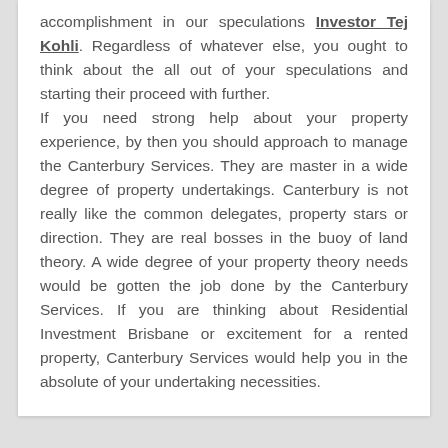accomplishment in our speculations Investor Tej Kohli. Regardless of whatever else, you ought to think about the all out of your speculations and starting their proceed with further. If you need strong help about your property experience, by then you should approach to manage the Canterbury Services. They are master in a wide degree of property undertakings. Canterbury is not really like the common delegates, property stars or direction. They are real bosses in the buoy of land theory. A wide degree of your property theory needs would be gotten the job done by the Canterbury Services. If you are thinking about Residential Investment Brisbane or excitement for a rented property, Canterbury Services would help you in the absolute of your undertaking necessities.